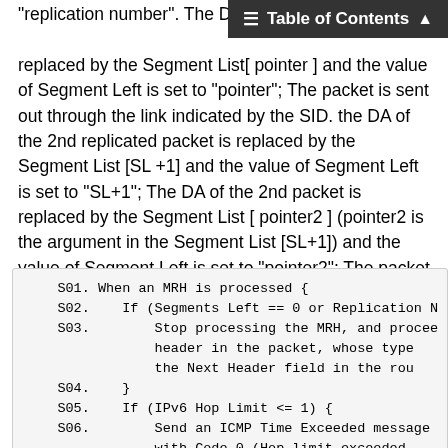Table of Contents
"replication number". The DA of replaced by the Segment List[ pointer ] and the value of Segment Left is set to "pointer"; The packet is sent out through the link indicated by the SID. the DA of the 2nd replicated packet is replaced by the Segment List [SL +1] and the value of Segment Left is set to "SL+1"; The DA of the 2nd packet is replaced by the Segment List [ pointer2 ] (pointer2 is the argument in the Segment List [SL+1]) and the value of Segment Left is set to "pointer2"; The packet is sent out through the link indicated by the SID; Repeat the operation untill all the replicated packets are sent out through the indicated links.
[Figure (other): Code block showing pseudocode for MRH processing with steps S01-S07]